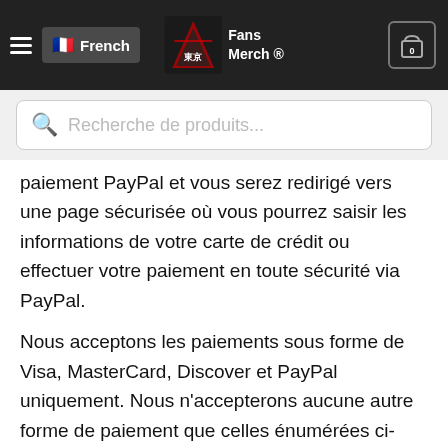French | Fans Merch ® | 0
[Figure (screenshot): Search bar with placeholder text 'Recherche de produits...']
paiement PayPal et vous serez redirigé vers une page sécurisée où vous pourrez saisir les informations de votre carte de crédit ou effectuer votre paiement en toute sécurité via PayPal.
Nous acceptons les paiements sous forme de Visa, MasterCard, Discover et PayPal uniquement. Nous n'accepterons aucune autre forme de paiement que celles énumérées ci-dessus. Toutes les informations sensibles envoyées entre votre ordinateur et les systèmes PayPal sont automatiquement cryptées, garantissant ainsi la confidentialité de vos